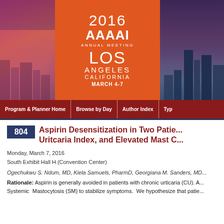[Figure (illustration): 2016 AAAAI Annual Meeting banner with city skyline of Los Angeles at night, orange center box with conference details]
Program & Planner Home | Browse by Day | Author Index | Type
804 Aspirin Desensitization in Two Patients with Chronic Urticaria, High Urticaria Index, and Elevated Mast Cell Tryptase
Monday, March 7, 2016
South Exhibit Hall H (Convention Center)
Ogechukwu S. Ndum, MD, Kiela Samuels, PharmD, Georgiana M. Sanders, MD
Rationale: Aspirin is generally avoided in patients with chronic urticaria (CU). Aspirin is used in Systemic Mastocytosis (SM) to stabilize symptoms. We hypothesize that patients with CU and elevated mast cell tryptase may benefit from aspirin desensitization.